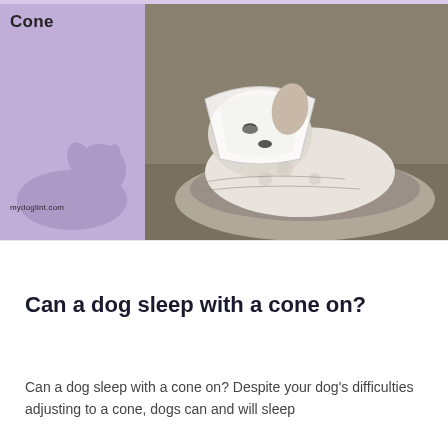[Figure (photo): Hero image split into two panels: left side is a lavender/purple panel with the word 'Cone' in bold and the website URL 'mydoglint.com' at the bottom, and a faint dog watermark. Right side shows a white short-haired dog wearing an Elizabethan cone collar, resting in a gray round dog bed, looking drowsy.]
Can a dog sleep with a cone on?
Can a dog sleep with a cone on? Despite your dog's difficulties adjusting to a cone, dogs can and will sleep